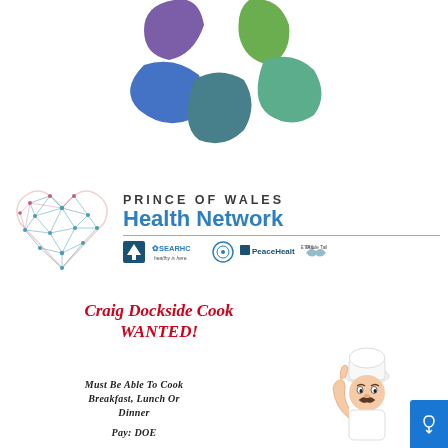[Figure (logo): Colorful abstract leaf/petal shapes logo in purple, blue, teal, and green at top center]
[Figure (logo): Prince of Wales Health Network logo with geometric heart shape and partner logos (SEARHC, PeaceHealth, Whale Tail, and a tree logo)]
Craig Dockside Cook WANTED!
Must be able to cook breakfast, Lunch or Dinner
Pay: DOE
[Figure (illustration): Cartoon chef character pointing upward, wearing white chef hat and apron, with mustache]